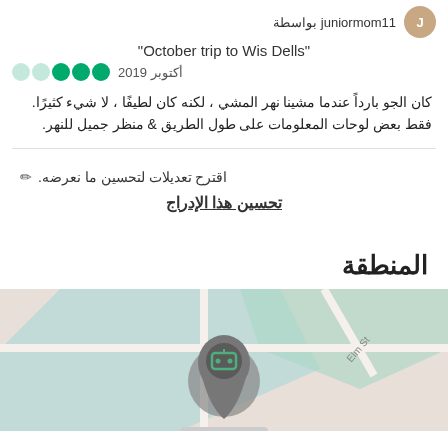juniormom11 بواسطة
"October trip to Wis Dells"
أكتوبر 2019 ●●●○○
كان الجو بارداً عندما مشينا نهر المشي ، لكنه كان لطيفًا ، لا شيء كثيرًا. فقط بعض لوحات المعلومات على طول الطريق & منظر جميل للنهر.
اقترح تعديلات لتحسين ما نعرضه.
تحسين هذا الإدراج
المنطقة
[Figure (map): A map showing a location with a TripAdvisor-style pin marker, teal/mint colored road areas, and Elm St label visible.]